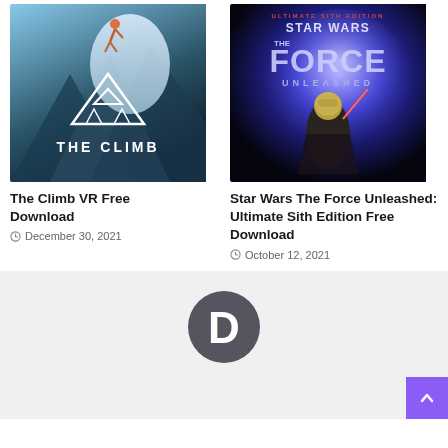[Figure (photo): The Climb VR game cover art showing a climber on an icy mountain with 'THE CLIMB' logo]
The Climb VR Free Download
December 30, 2021
[Figure (photo): Star Wars The Force Unleashed: Ultimate Sith Edition game cover art showing a dark armored character with lightsaber]
Star Wars The Force Unleashed: Ultimate Sith Edition Free Download
October 12, 2021
[Figure (logo): Disqus D logo icon in dark gray circle]